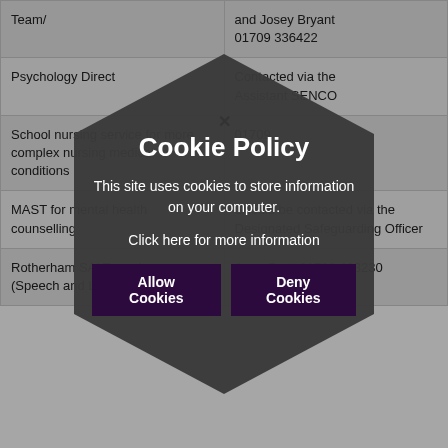| Service | Contact |
| --- | --- |
| Team/ | and Josey Bryant 01709 336422 |
| Psychology Direct | Contacted via the Assistant SENCO |
| School nursing service for more complex nursing medical conditions | 01709 |
| MAST for mental health counselling | Should be contacted via the Designated Safeguarding Officer |
| Rotherham SALT service (Speech and Language Therapy) | Anna Brett 01709 423230 |
[Figure (other): Cookie Policy modal overlay with hexagonal/diamond dark background shape. Title: 'Cookie Policy'. Body text: 'This site uses cookies to store information on your computer.' Link text: 'Click here for more information'. Two buttons: 'Allow Cookies' and 'Deny Cookies'. Close X button at top.]